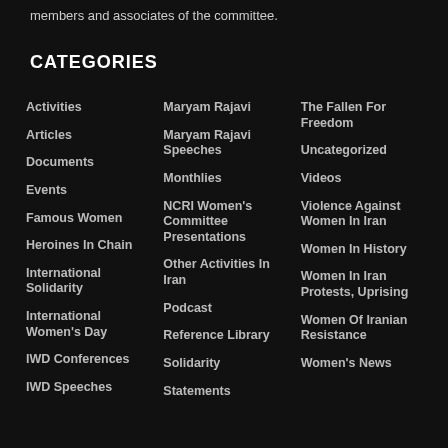members and associates of the committee.
CATEGORIES
Activities
Articles
Documents
Events
Famous Women
Heroines In Chain
International Solidarity
International Women's Day
IWD Conferences
IWD Speeches
Maryam Rajavi
Maryam Rajavi Speeches
Monthlies
NCRI Women's Committee Presentations
Other Activities In Iran
Podcast
Reference Library
Solidarity
Statements
The Fallen For Freedom
Uncategorized
Videos
Violence Against Women In Iran
Women In History
Women In Iran Protests, Uprising
Women Of Iranian Resistance
Women's News